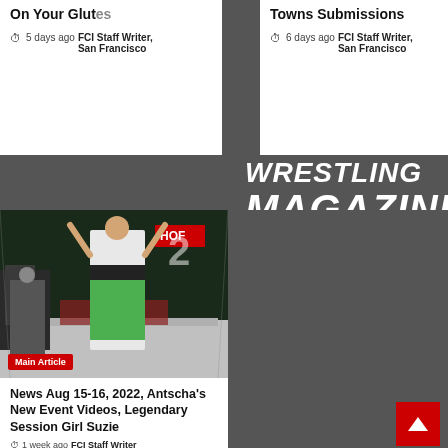On Your Glutes
5 days ago  FCI Staff Writer, San Francisco
Towns Submissions
6 days ago  FCI Staff Writer, San Francisco
WRESTLING MAGAZINE
[Figure (photo): Ring girl in green outfit with arms raised in MMA octagon, HOF banner visible in background]
Main Article
News Aug 15-16, 2022, Antscha's New Event Videos, Legendary Session Girl Suzie
1 week ago  FCI Staff Writer